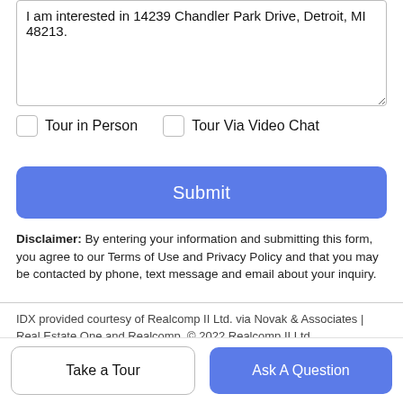I am interested in 14239 Chandler Park Drive, Detroit, MI 48213.
Tour in Person
Tour Via Video Chat
Submit
Disclaimer: By entering your information and submitting this form, you agree to our Terms of Use and Privacy Policy and that you may be contacted by phone, text message and email about your inquiry.
IDX provided courtesy of Realcomp II Ltd. via Novak & Associates | Real Estate One and Realcomp. © 2022 Realcomp II Ltd.
Take a Tour
Ask A Question